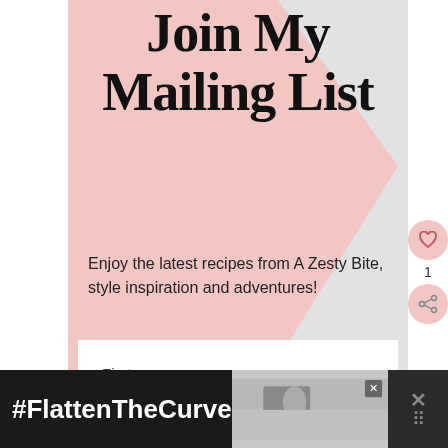Join My Mailing List
Enjoy the latest recipes from A Zesty Bite, style inspiration and adventures!
First name
Email address
SUBSCRIBE
1
#FlattenTheCurve